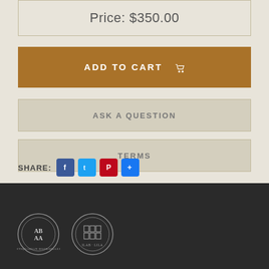Price: $350.00
ADD TO CART
ASK A QUESTION
TERMS
SHARE:
[Figure (logo): ABAA antiquarian booksellers association logo, circular seal]
[Figure (logo): ILAB / LILA booksellers association logo, circular seal with book grid]